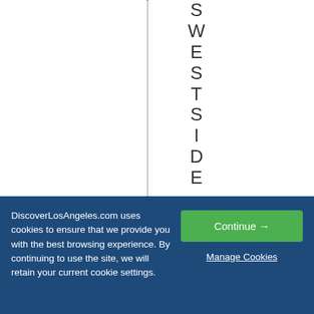WESTSIDE 09/13/2
DiscoverLosAngeles.com uses cookies to ensure that we provide you with the best browsing experience. By continuing to use the site, we will retain your current cookie settings.
Continue →
Manage Cookies